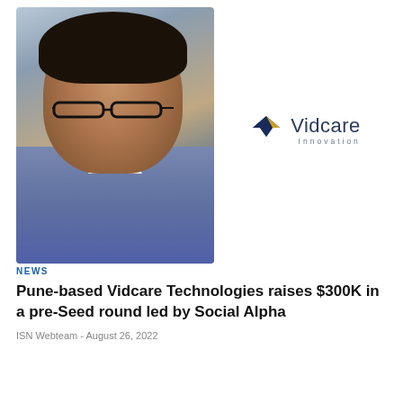[Figure (photo): Headshot of a young man with dark hair and glasses wearing a blue striped shirt, outdoors with green foliage background]
[Figure (logo): Vidcare Innovation logo: dark navy V chevron icon with gold/yellow accent, followed by 'Vidcare' in dark navy and 'Innovation' in grey below]
NEWS
Pune-based Vidcare Technologies raises $300K in a pre-Seed round led by Social Alpha
ISN Webteam - August 26, 2022